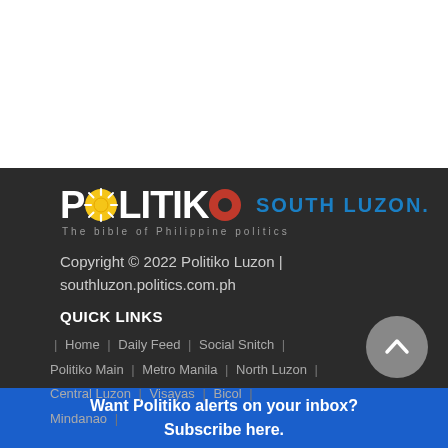[Figure (logo): Politiko South Luzon logo with sun icon replacing the O in Politiko, tagline: The bible of Philippine politics]
Copyright © 2022 Politiko Luzon | southluzon.politics.com.ph
QUICK LINKS
Home | Daily Feed | Social Snitch | Politiko Main | Metro Manila | North Luzon | Central Luzon | Visayas | Bicol | Mindanao |
Want Politiko alerts on your inbox? Subscribe here.